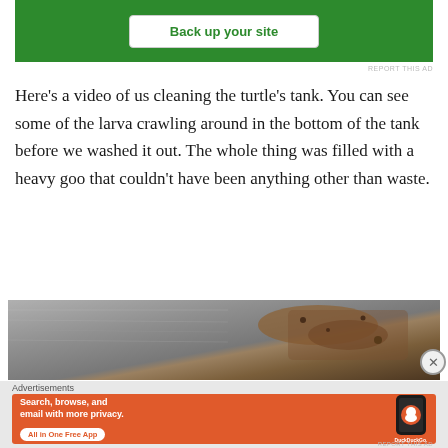[Figure (screenshot): Green advertisement banner with white 'Back up your site' button]
REPORT THIS AD
Here's a video of us cleaning the turtle's tank.  You can see some of the larva crawling around in the bottom of the tank before we washed it out.  The whole thing was filled with a heavy goo that couldn't have been anything other than waste.
[Figure (photo): Photo of a dirty turtle tank bottom with debris and rust]
Advertisements
[Figure (screenshot): DuckDuckGo advertisement: Search, browse, and email with more privacy. All in One Free App. Shows DuckDuckGo logo and phone mockup.]
REPORT THIS AD